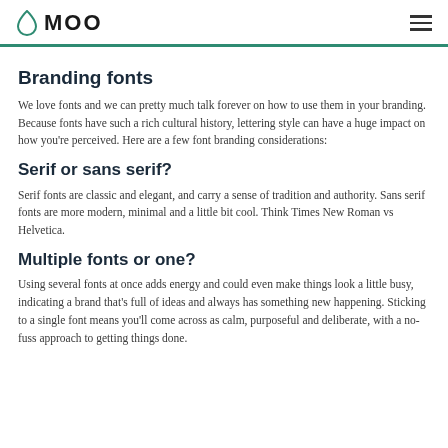MOO
Branding fonts
We love fonts and we can pretty much talk forever on how to use them in your branding. Because fonts have such a rich cultural history, lettering style can have a huge impact on how you're perceived. Here are a few font branding considerations:
Serif or sans serif?
Serif fonts are classic and elegant, and carry a sense of tradition and authority. Sans serif fonts are more modern, minimal and a little bit cool. Think Times New Roman vs Helvetica.
Multiple fonts or one?
Using several fonts at once adds energy and could even make things look a little busy, indicating a brand that's full of ideas and always has something new happening. Sticking to a single font means you'll come across as calm, purposeful and deliberate, with a no-fuss approach to getting things done.